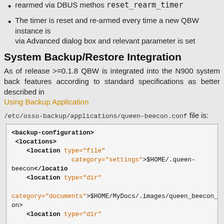set_param_intl2 method, the relevant timer must be explicitly rearmed via DBUS methos reset_rearm_timer
The timer is reset and re-armed every time a new QBW instance is via Advanced dialog box and relevant parameter is set
System Backup/Restore Integration
As of release >=0.1.8 QBW is integrated into the N900 system back features according to standard specifications as better described in Using Backup Application
/etc/osso-backup/applications/queen-beecon.conf file is:
[Figure (screenshot): XML code block showing backup configuration with locations for file and directory types, including $HOME/.queen-beecon and $HOME/MyDocs/.images/queen_beecon_dir and $HOME/.queen_beecon_dir paths]
Application Logging Subsystem